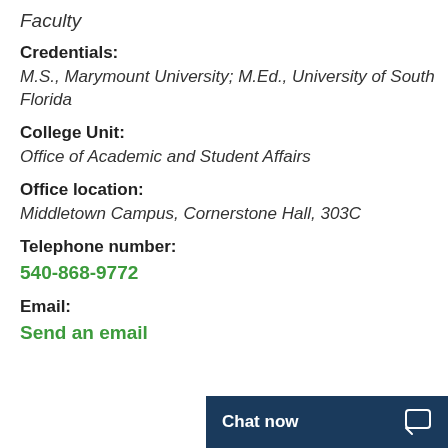Faculty
Credentials:
M.S., Marymount University; M.Ed., University of South Florida
College Unit:
Office of Academic and Student Affairs
Office location:
Middletown Campus, Cornerstone Hall, 303C
Telephone number:
540-868-9772
Email:
Send an email
Chat now